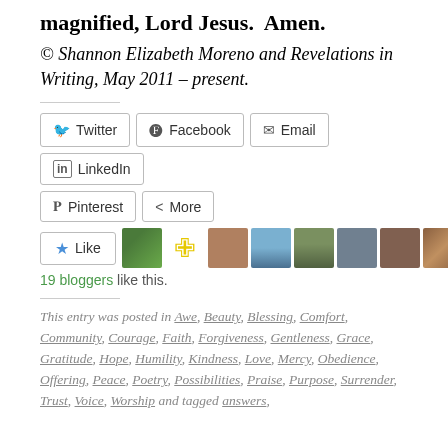magnified, Lord Jesus.  Amen.
© Shannon Elizabeth Moreno and Revelations in Writing, May 2011 – present.
[Figure (other): Social sharing buttons: Twitter, Facebook, Email, LinkedIn, Pinterest, More]
[Figure (other): Like button with star icon, followed by a strip of blogger avatar thumbnails]
19 bloggers like this.
This entry was posted in Awe, Beauty, Blessing, Comfort, Community, Courage, Faith, Forgiveness, Gentleness, Grace, Gratitude, Hope, Humility, Kindness, Love, Mercy, Obedience, Offering, Peace, Poetry, Possibilities, Praise, Purpose, Surrender, Trust, Voice, Worship and tagged answers,